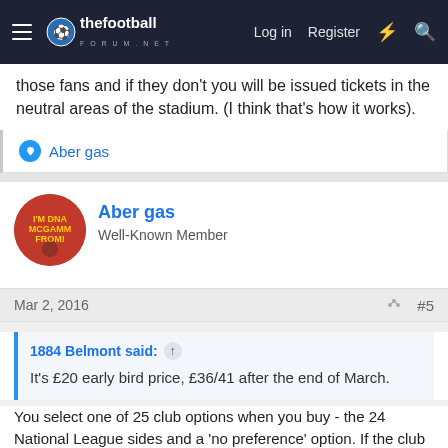thefootballforum.net — Log in | Register
those fans and if they don't you will be issued tickets in the neutral areas of the stadium. (I think that's how it works).
Aber gas
Aber gas
Well-Known Member
Mar 2, 2016 #5
1884 Belmont said:
It's £20 early bird price, £36/41 after the end of March.

You select one of 25 club options when you buy - the 24 National League sides and a 'no preference' option. If the club you affiliate with makes the final, you will be issued tickets with those fans and if they don't you will be issued tickets in the neutral areas of the